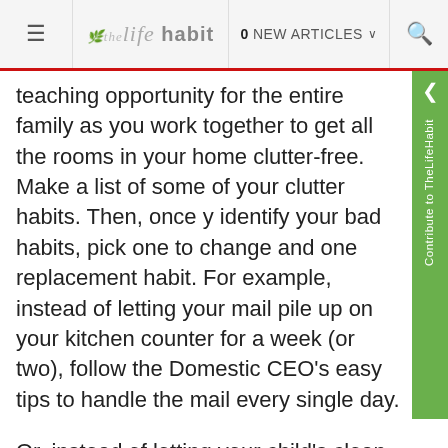≡  thelife habit  0 NEW ARTICLES ▾  🔍
teaching opportunity for the entire family as you work together to get all the rooms in your home clutter-free. Make a list of some of your clutter habits. Then, once you identify your bad habits, pick one to change and one replacement habit. For example, instead of letting your mail pile up on your kitchen counter for a week (or two), follow the Domestic CEO's easy tips to handle the mail every single day.
Or, instead of letting your child's clean laundry sit on her bureau or the closet floor, show her how to put it away correctly so that she'll get into the habit of respecting her things and her environment—and avoid shuffling through messy piles to find a clean pair of socks. Start small by choosing just one habit, and pick one that you feel